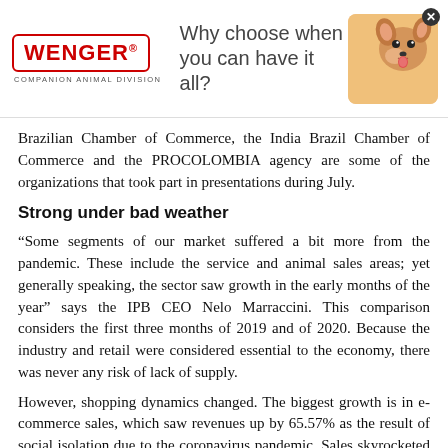[Figure (illustration): Wenger Companion Animal Division advertisement banner with logo on left, tagline 'Why choose when you can have it all?' in center, and a photo of a Chihuahua dog on the right, with a close button in the top-right corner.]
Brazilian Chamber of Commerce, the India Brazil Chamber of Commerce and the PROCOLOMBIA agency are some of the organizations that took part in presentations during July.
Strong under bad weather
“Some segments of our market suffered a bit more from the pandemic. These include the service and animal sales areas; yet generally speaking, the sector saw growth in the early months of the year” says the IPB CEO Nelo Marraccini. This comparison considers the first three months of 2019 and of 2020. Because the industry and retail were considered essential to the economy, there was never any risk of lack of supply.
However, shopping dynamics changed. The biggest growth is in e-commerce sales, which saw revenues up by 65.57% as the result of social isolation due to the coronavirus pandemic. Sales skyrocketed from R$ 1.49 billion to R$ 2.47 billion year-over-